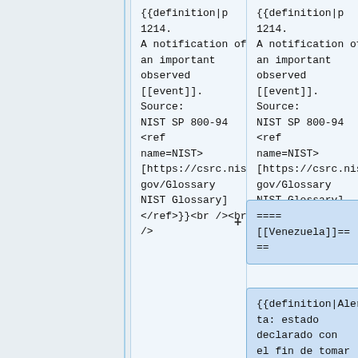{{definition|p 1214. A notification of an important observed [[event]]. Source: NIST SP 800-94 <ref name=NIST>[https://csrc.nist.gov/Glossary NIST Glossary]</ref>}}<br /><br />
{{definition|p 1214. A notification of an important observed [[event]]. Source: NIST SP 800-94 <ref name=NIST>[https://csrc.nist.gov/Glossary NIST Glossary]</ref>}}<br /><br />
==== [[Venezuela]]====
==
{{definition|Alerta: estado declarado con el fin de tomar precauciones especificas,